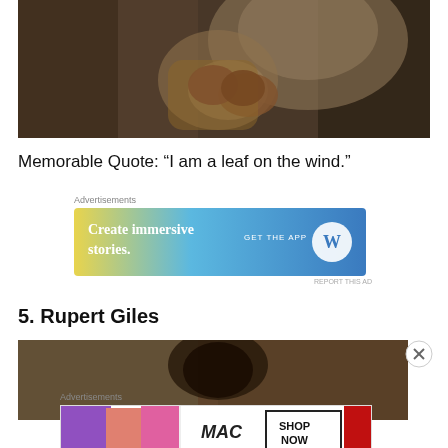[Figure (photo): Close-up of a person with tattoos on hands, wearing a floral shirt, in a dim setting]
Memorable Quote: “I am a leaf on the wind.”
[Figure (other): Advertisement banner: Create immersive stories. GET THE APP with WordPress logo, blue-green gradient background]
5. Rupert Giles
[Figure (photo): Partial photo of a person with dark hair against a blurred background]
[Figure (other): Advertisement banner: MAC cosmetics lipsticks SHOP NOW ad]